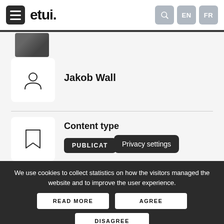etui. EN FR
Jakob Wall
Content type
PUBLICAT
Privacy settings
We use cookies to collect statistics on how the visitors managed the website and to improve the user experience.
READ MORE
AGREE
DISAGREE